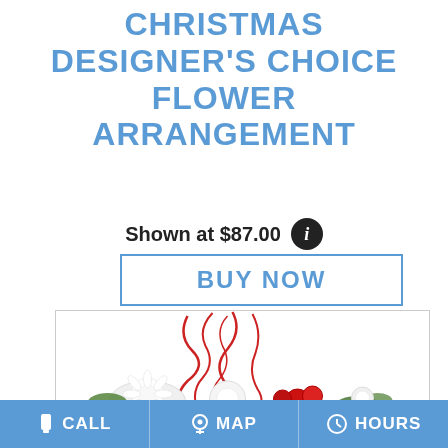CHRISTMAS DESIGNER'S CHOICE FLOWER ARRANGEMENT
Shown at $87.00
BUY NOW
[Figure (photo): Christmas flower arrangement with red curly branches, white chrysanthemums, red carnations and greenery on a white background]
CALL   MAP   HOURS